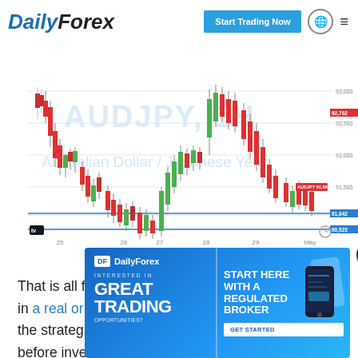DailyForex | Start Trading Now
[Figure (continuous-plot): AUD/JPY Hourly candlestick chart showing price action from dates 25 through May 1. Chart shows a downtrend followed by a sharp rally then decline. Background watermark text reads 'AUDJPY, 1H' and 'Australian Dollar / Japanese Yen'. Y-axis shows price levels approximately 90.523 to 93.000. Price labels on right side show 92.762 in red box and 91.600 level. Blue horizontal lines at 91.042 and 90.523.]
AUD/JPY Hourly Chart
That is all for this week. You can trade my forecasts in a real or demo Forex brokerage account to test the strategies and strengthen your self-confidence before inves
[Figure (infographic): DailyForex advertisement banner with blue gradient background. Left side: DF logo box, DailyForex text, 'INTERESTED IN' subtitle, 'GREAT TRADING OPPORTUNITIES?' main text. Right side: 'START HERE WITH A REGULATED BROKER' text and 'GET STARTED' button. Phone mockup images on right. Close (X) button in top right corner.]